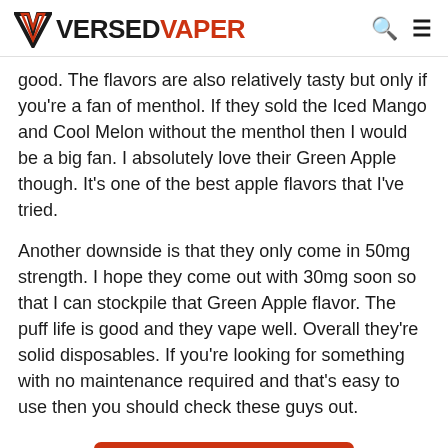VERSED VAPER
good. The flavors are also relatively tasty but only if you're a fan of menthol. If they sold the Iced Mango and Cool Melon without the menthol then I would be a big fan. I absolutely love their Green Apple though. It's one of the best apple flavors that I've tried.
Another downside is that they only come in 50mg strength. I hope they come out with 30mg soon so that I can stockpile that Green Apple flavor. The puff life is good and they vape well. Overall they're solid disposables. If you're looking for something with no maintenance required and that's easy to use then you should check these guys out.
CHECK PRICE